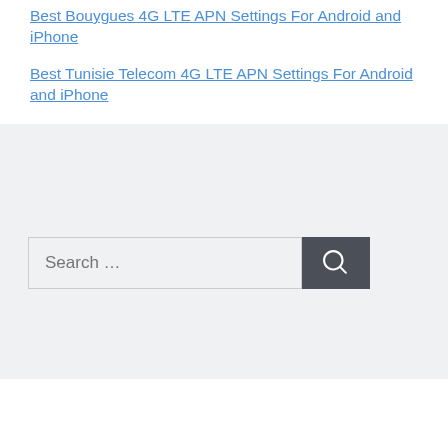Best Bouygues 4G LTE APN Settings For Android and iPhone
Best Tunisie Telecom 4G LTE APN Settings For Android and iPhone
[Figure (other): Search bar with text 'Search ...' and a dark search button with magnifying glass icon]